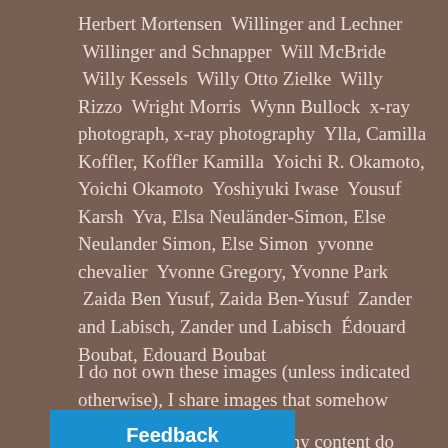Herbert Mortensen  Willinger and Lechner  Willinger and Schnapper  Will McBride  Willy Kessels  Willy Otto Zielke  Willy Rizzo  Wright Morris  Wynn Bullock  x-ray photograph, x-ray photography  Ylla, Camilla Koffler, Koffler Kamilla  Yoichi R. Okamoto, Yoichi Okamoto  Yoshiyuki Iwase  Yousuf Karsh  Yva, Elsa Neuländer-Simon, Else Neulander Simon, Else Simon  yvonne chevalier  Yvonne Gregory, Yvonne Park  Zaida Ben Yusuf, Zaida Ben-Yusuf  Zander and Labisch, Zander und Labisch  Édouard Boubat, Edouard Boubat
I do not own these images (unless indicated otherwise), I share images that somehow haunt me.
...reblog or share any content do NOT REMOVE credits and sources.